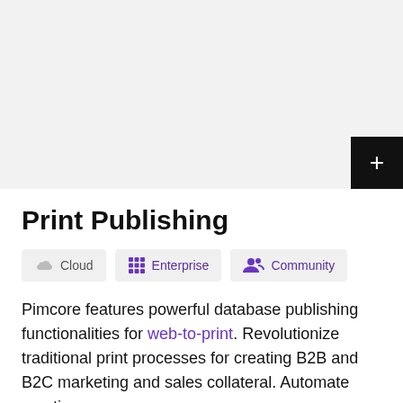[Figure (other): Gray banner area with a black plus button in the bottom-right corner]
Print Publishing
Cloud   Enterprise   Community
Pimcore features powerful database publishing functionalities for web-to-print. Revolutionize traditional print processes for creating B2B and B2C marketing and sales collateral. Automate creating